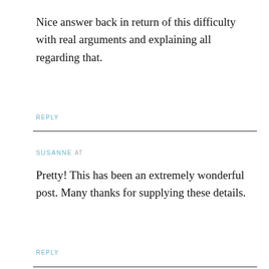Nice answer back in return of this difficulty with real arguments and explaining all regarding that.
REPLY
SUSANNE at
Pretty! This has been an extremely wonderful post. Many thanks for supplying these details.
REPLY